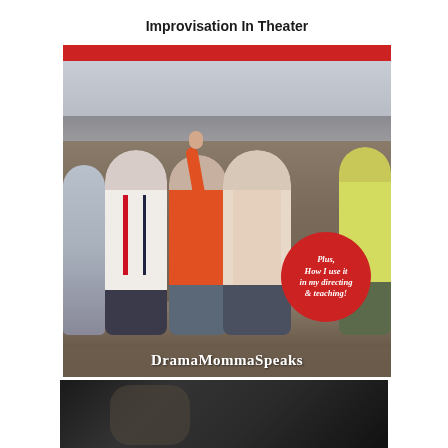[Figure (photo): Blog post cover image for DramaMommaSpeaks about Improvisation In Theater. Shows a group of children sitting on a bench outdoors, one boy raising his finger. A red circle overlay reads 'Plus, How I use it in my directing & teaching!' and the brand name DramaMommaSpeaks appears at the bottom.]
Improvisation In Theater
Plus, How I use it in my directing & teaching!
DramaMommaSpeaks
[Figure (photo): Partial dark image at bottom of page, likely another blog post thumbnail showing a figure against a dark background.]